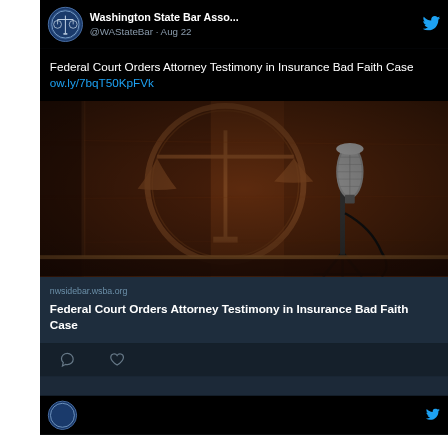[Figure (screenshot): Twitter/X post from Washington State Bar Association (@WAStateBar) dated Aug 22, showing a tweet about 'Federal Court Orders Attorney Testimony in Insurance Bad Faith Case' with a link ow.ly/7bqT50KpFVk, a courtroom photo with a microphone and scales of justice in background, a link preview card showing nwsidebar.wsba.org with the same headline, and social action icons at the bottom.]